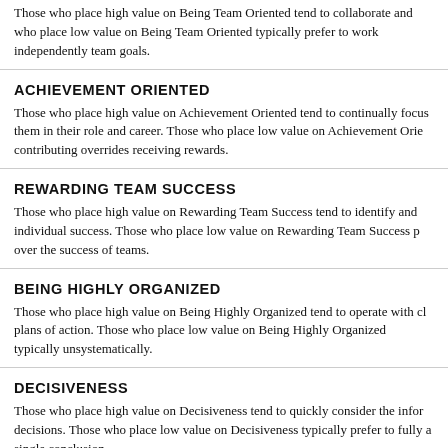Those who place high value on Being Team Oriented tend to collaborate and who place low value on Being Team Oriented typically prefer to work independently team goals.
ACHIEVEMENT ORIENTED
Those who place high value on Achievement Oriented tend to continually focus them in their role and career. Those who place low value on Achievement Oriented contributing overrides receiving rewards.
REWARDING TEAM SUCCESS
Those who place high value on Rewarding Team Success tend to identify and individual success. Those who place low value on Rewarding Team Success p over the success of teams.
BEING HIGHLY ORGANIZED
Those who place high value on Being Highly Organized tend to operate with clear plans of action. Those who place low value on Being Highly Organized typically unsystematically.
DECISIVENESS
Those who place high value on Decisiveness tend to quickly consider the information decisions. Those who place low value on Decisiveness typically prefer to fully explore a single conclusion.